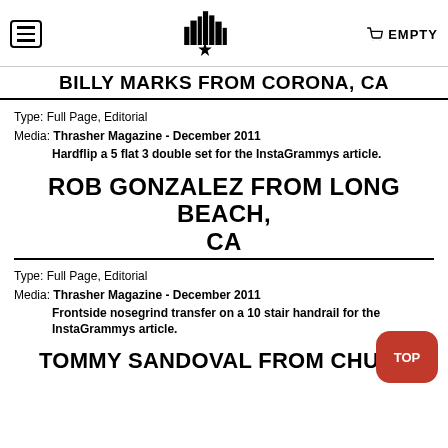EMPTY
BILLY MARKS FROM CORONA, CA
Type: Full Page, Editorial
Media: Thrasher Magazine - December 2011
Hardflip a 5 flat 3 double set for the InstaGrammys article.
ROB GONZALEZ FROM LONG BEACH, CA
Type: Full Page, Editorial
Media: Thrasher Magazine - December 2011
Frontside nosegrind transfer on a 10 stair handrail for the InstaGrammys article.
TOMMY SANDOVAL FROM CHULA